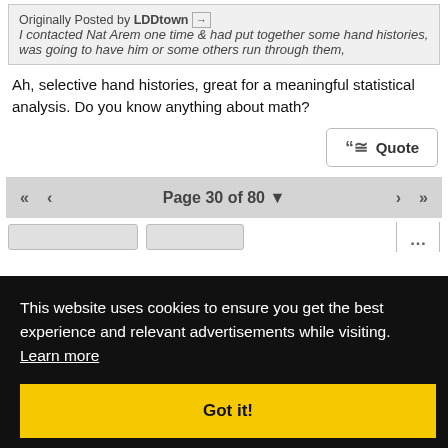Originally Posted by LDDtown
I contacted Nat Arem one time & had put together some hand histories, was going to have him or some others run through them,
Ah, selective hand histories, great for a meaningful statistical analysis. Do you know anything about math?
Quote
Page 30 of 80
[Figure (screenshot): Cookie consent overlay with dark background, message about cookies, Learn more link, and Got it! button]
This website uses cookies to ensure you get the best experience and relevant advertisements while visiting. Learn more
Got it!
Top